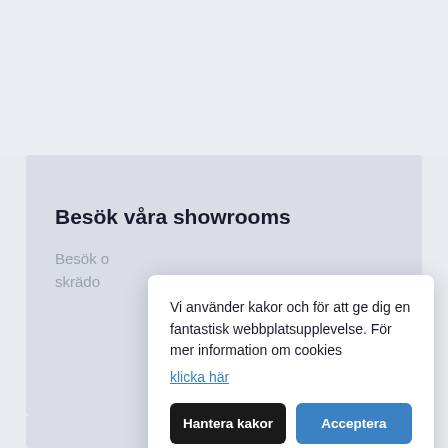[Figure (screenshot): Background webpage with light blue-gray background showing a partially visible content card with heading 'Besök våra showrooms' and truncated body text.]
Besök våra showrooms
Besök o skrädo
Vi använder kakor och för att ge dig en fantastisk webbplatsupplevelse. För mer information om cookies klicka här
Hantera kakor
Acceptera